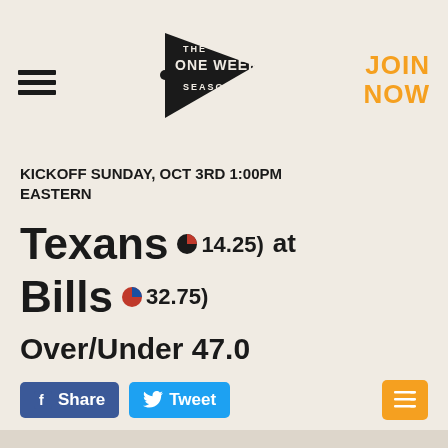[Figure (logo): The One Week Season pennant logo — triangular pennant shape with 'THE ONE WEEK SEASON' text]
JOIN NOW
KICKOFF SUNDAY, OCT 3RD 1:00PM EASTERN
Texans (14.25) at Bills (32.75)
Over/Under 47.0
Share  Tweet